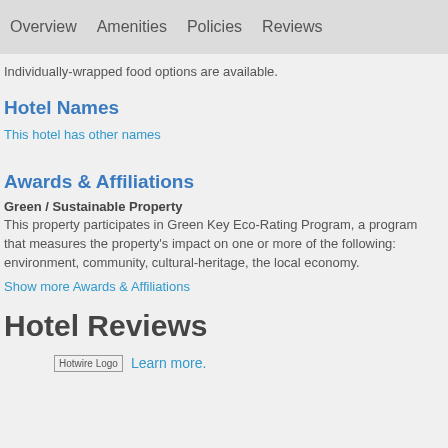Overview   Amenities   Policies   Reviews
Individually-wrapped food options are available.
Hotel Names
This hotel has other names
Awards & Affiliations
Green / Sustainable Property
This property participates in Green Key Eco-Rating Program, a program that measures the property's impact on one or more of the following: environment, community, cultural-heritage, the local economy.
Show more Awards & Affiliations
Hotel Reviews
[Figure (logo): Hotwire Logo followed by Learn more. link]